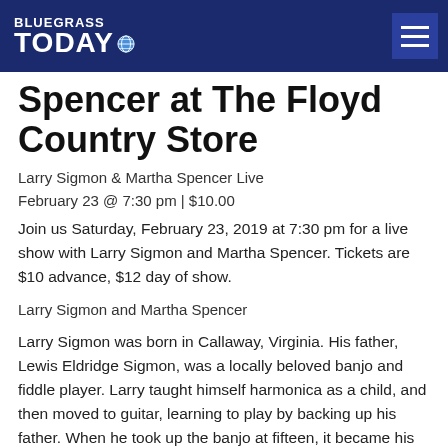BLUEGRASS TODAY
Spencer at The Floyd Country Store
Larry Sigmon & Martha Spencer Live
February 23 @ 7:30 pm | $10.00
Join us Saturday, February 23, 2019 at 7:30 pm for a live show with Larry Sigmon and Martha Spencer. Tickets are $10 advance, $12 day of show.
Larry Sigmon and Martha Spencer
Larry Sigmon was born in Callaway, Virginia. His father, Lewis Eldridge Sigmon, was a locally beloved banjo and fiddle player. Larry taught himself harmonica as a child, and then moved to guitar, learning to play by backing up his father. When he took up the banjo at fifteen, it became his main instrument, and he